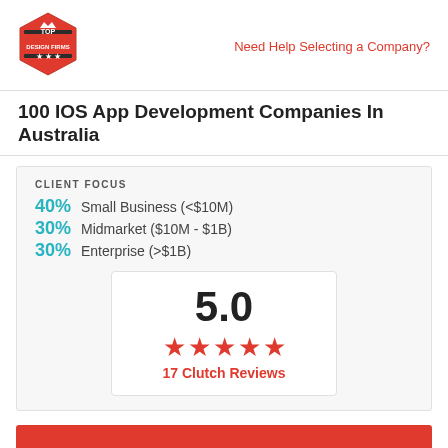[Figure (logo): Top Design Firms logo — red hexagon badge with crown and banner]
Need Help Selecting a Company?
100 IOS App Development Companies In Australia
CLIENT FOCUS
40% Small Business (<$10M)
30% Midmarket ($10M - $1B)
30% Enterprise (>$1B)
5.0
[Figure (infographic): Five red stars rating display]
17 Clutch Reviews